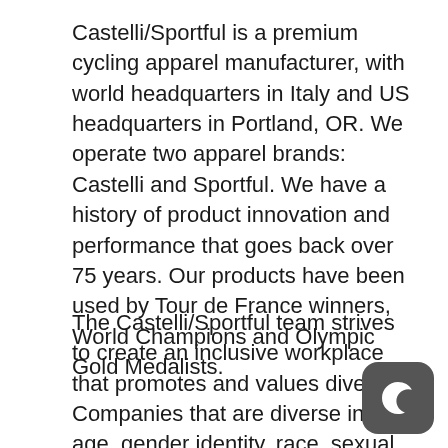Castelli/Sportful is a premium cycling apparel manufacturer, with world headquarters in Italy and US headquarters in Portland, OR. We operate two apparel brands: Castelli and Sportful. We have a history of product innovation and performance that goes back over 75 years. Our products have been used by Tour de France winners, World Champions and Olympic Gold Medalists.
The Castelli/Sportful team strives to create an inclusive workplace that promotes and values diversity. Companies that are diverse in age, gender identity, race, sexual orientation, physical or mental ability, ethnicity, and perspective are proven to be better companies. More importantly, creating an environment where everyone, from any background, can do their best work is the right